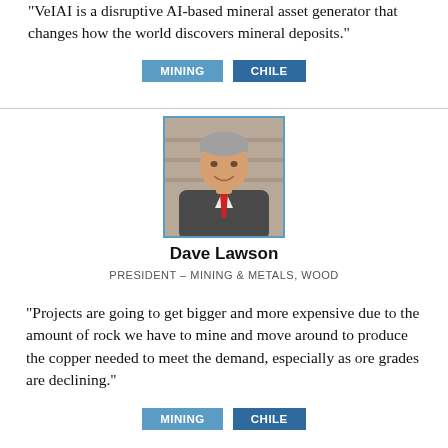"VeIAI is a disruptive AI-based mineral asset generator that changes how the world discovers mineral deposits."
MINING
CHILE
[Figure (photo): Portrait photo of Dave Lawson, a middle-aged man in a grey suit with a red tie, smiling, with shelves in the background.]
Dave Lawson
PRESIDENT – MINING & METALS, WOOD
"Projects are going to get bigger and more expensive due to the amount of rock we have to mine and move around to produce the copper needed to meet the demand, especially as ore grades are declining."
MINING
CHILE